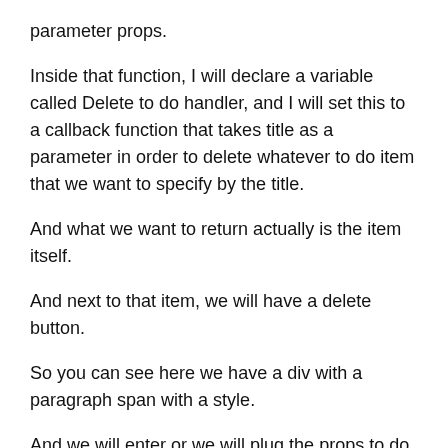parameter props.
Inside that function, I will declare a variable called Delete to do handler, and I will set this to a callback function that takes title as a parameter in order to delete whatever to do item that we want to specify by the title.
And what we want to return actually is the item itself.
And next to that item, we will have a delete button.
So you can see here we have a div with a paragraph span with a style.
And we will enter or we will plug the props.to do dot title.
So the title first, and this is going to be bold, then a colon, and then we want to have the description next to it.
And then after we'll have a button with onClick attribute is